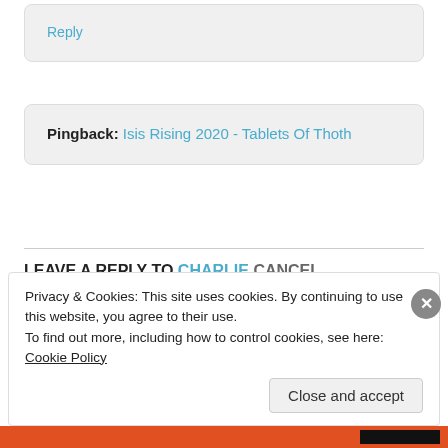Reply
Pingback: Isis Rising 2020 - Tablets Of Thoth
LEAVE A REPLY TO CHARLIE CANCEL REPLY
Privacy & Cookies: This site uses cookies. By continuing to use this website, you agree to their use.
To find out more, including how to control cookies, see here: Cookie Policy
Close and accept